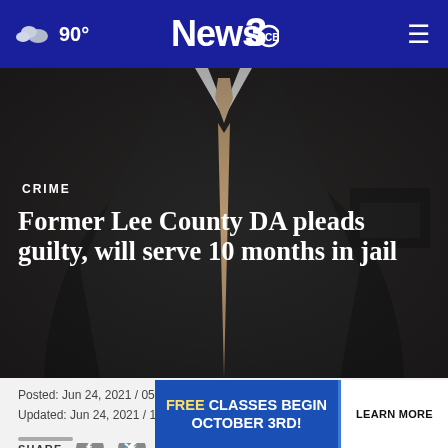90° News3 (CBS)
[Figure (photo): A man in a dark suit and tie, shown from the chest down, in a dimly lit setting. This is the hero image for the news article.]
CRIME
Former Lee County DA pleads guilty, will serve 10 months in jail
Posted: Jun 24, 2021 / 05:47 PM EDT
Updated: Jun 24, 2021 / 10:08 PM EDT
SHARE
[Figure (infographic): Advertisement banner: FREE CLASSES BEGIN OCTOBER 3RD! with a LEARN MORE button]